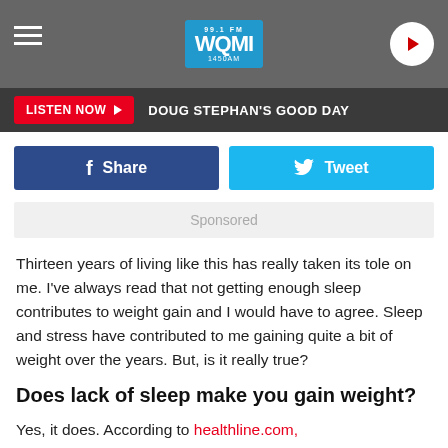[Figure (screenshot): Radio station header with WQMI 99.1FM 1450AM logo in blue, gray hamburger menu icon on left, white circular play button on right]
LISTEN NOW ▶  DOUG STEPHAN'S GOOD DAY
[Figure (screenshot): Facebook Share button (dark blue) and Twitter Tweet button (light blue)]
Sponsored
Thirteen years of living like this has really taken its tole on me. I've always read that not getting enough sleep contributes to weight gain and I would have to agree. Sleep and stress have contributed to me gaining quite a bit of weight over the years. But, is it really true?
Does lack of sleep make you gain weight?
Yes, it does. According to healthline.com,